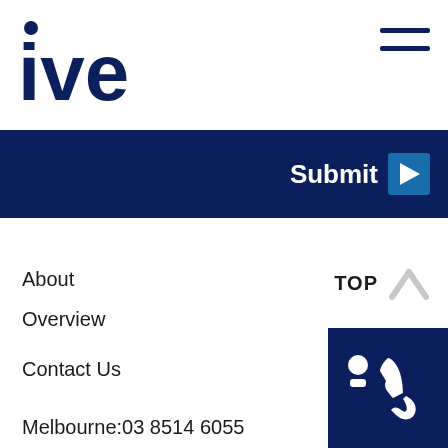[Figure (logo): IVE company logo in dark navy blue with a dot above the letter i]
[Figure (other): Hamburger menu icon with two dark navy horizontal lines]
Submit >
About
Overview
TOP ^
Contact Us
Melbourne:03 8514 6055
Sydney: 02 8020 4300
[Figure (other): Dark navy blue square block with a white telephone handset icon and a white circular person icon]